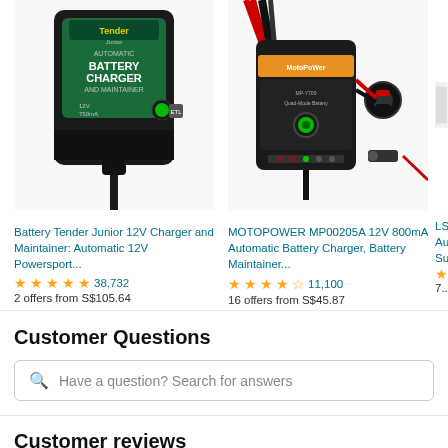[Figure (photo): Battery Tender Junior 12V battery charger product image]
Battery Tender Junior 12V Charger and Maintainer: Automatic 12V Powersport...
★★★★★ 38,732
2 offers from S$105.64
[Figure (photo): MOTOPOWER MP00205A 12V 800mA battery charger product image]
MOTOPOWER MP00205A 12V 800mA Automatic Battery Charger, Battery Maintainer...
★★★★½ 11,100
16 offers from S$45.87
[Figure (photo): Partial third product image (LS...)]
LS Au... Su...
7...
Customer Questions
Have a question? Search for answers
Customer reviews